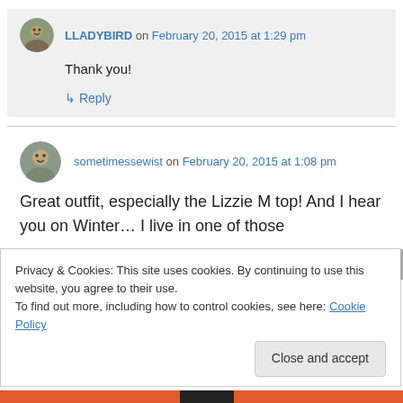LLADYBIRD on February 20, 2015 at 1:29 pm
Thank you!
↳ Reply
sometimessewist on February 20, 2015 at 1:08 pm
Great outfit, especially the Lizzie M top! And I hear you on Winter… I live in one of those
Privacy & Cookies: This site uses cookies. By continuing to use this website, you agree to their use.
To find out more, including how to control cookies, see here: Cookie Policy
Close and accept